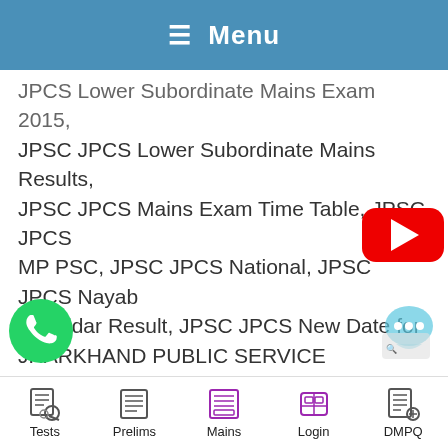☰ Menu
JPSC Lower Subordinate Mains Exam 2015, JPSC JPCS Lower Subordinate Mains Results, JPSC JPCS Mains Exam Time Table, JPSC JPCS MP PSC, JPSC JPCS National, JPSC JPCS Nayab Tehsildar Result, JPSC JPCS New Date for JHARKHAND PUBLIC SERVICE COMMISSIONPCS Pre, JPSC JPCS Online, JPSC JPCS Online Application, JPSC JPCS Online application JHARKHAND PUBLIC SERVICE COMMISSIONPSC mains 2015, JPSC JPCS Online Registration, JPSC JPCS Online Commission, JPSC JPCS PCS 2011 Result, IP
[Figure (logo): YouTube play button red logo]
[Figure (logo): WhatsApp green circle icon]
[Figure (logo): Chat bubble icon with ellipsis]
Tests  Prelims  Mains  Login  DMPQ